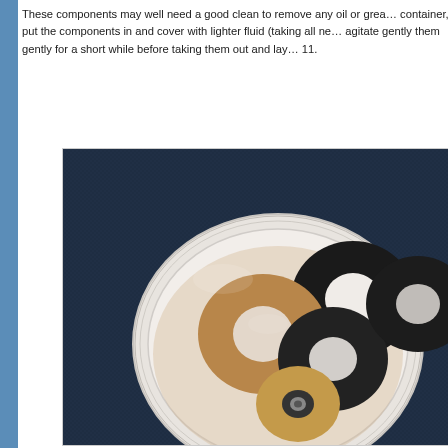These components may well need a good clean to remove any oil or grease. Get a suitable container, put the components in and cover with lighter fluid (taking all ne… agitate gently them gently for a short while before taking them out and lay… 11.
[Figure (photo): A white plastic lid/container holding several washers and rings — brown/copper-colored flat washers and black rubber or dark metal washers — soaking in lighter fluid, placed on a dark blue fabric background.]